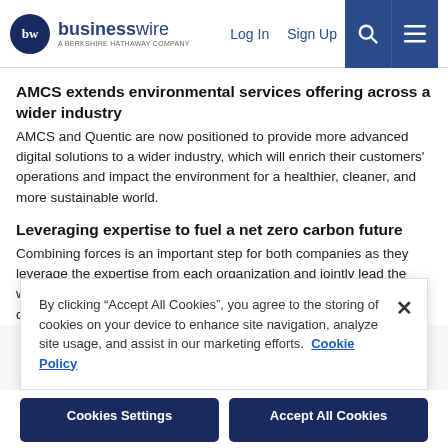businesswire — A BERKSHIRE HATHAWAY COMPANY | Log In | Sign Up
AMCS extends environmental services offering across a wider industry
AMCS and Quentic are now positioned to provide more advanced digital solutions to a wider industry, which will enrich their customers' operations and impact the environment for a healthier, cleaner, and more sustainable world.
Leveraging expertise to fuel a net zero carbon future
Combining forces is an important step for both companies as they leverage the expertise from each organization and jointly lead the way for added competence in the market. Managing resources from cradle-to-cradle has become a key responsibility for businesses
By clicking “Accept All Cookies”, you agree to the storing of cookies on your device to enhance site navigation, analyze site usage, and assist in our marketing efforts. Cookie Policy
Cookies Settings | Accept All Cookies